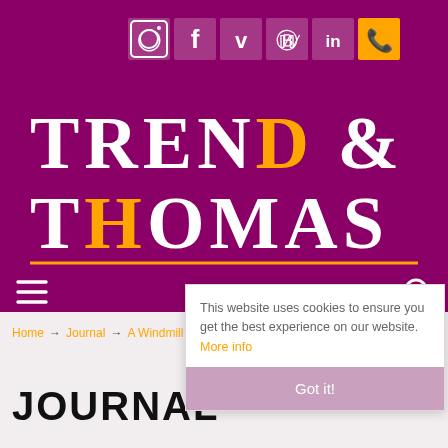[Figure (logo): Trend & Thomas estate agency logo on purple background with social media icons (Instagram, Facebook, Vimeo, Pinterest, LinkedIn, Phone) at top, large white serif text TREND & THOMAS with gold underline, hamburger menu and search icon navigation bar]
Home → Journal → A Windmill to live in
JOURNAL
This website uses cookies to ensure you get the best experience on our website. More info
Got it!